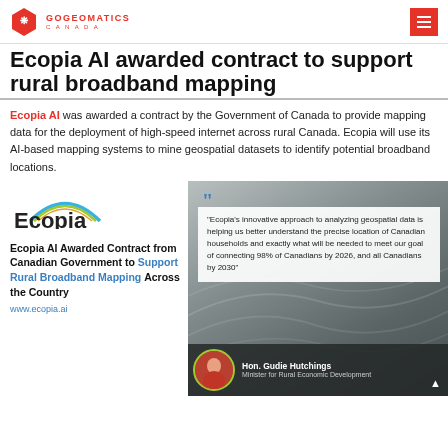GOGEOMATICS CANADA
Ecopia AI awarded contract to support rural broadband mapping
Ecopia AI was awarded a contract by the Government of Canada to provide mapping data for the deployment of high-speed internet across rural Canada. Ecopia will use its AI-based mapping systems to mine geospatial datasets to identify potential broadband locations.
[Figure (screenshot): Ecopia company logo with rainbow arc above text]
Ecopia AI Awarded Contract from Canadian Government to Support Rural Broadband Mapping Across the Country
www.ecopia.ai
[Figure (photo): Dark background with topographic map lines, quote box reading: 'Ecopia's innovative approach to analyzing geospatial data is helping us better understand the precise location of Canadian households and exactly what will be needed to meet our goal of connecting 98% of Canadians by 2026, and all Canadians by 2030', attributed to Hon. Gudie Hutchings, Minister for Rural Economic Development]